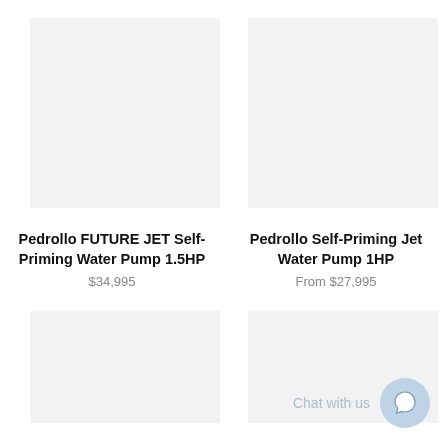[Figure (photo): Product image placeholder for Pedrollo FUTURE JET Self-Priming Water Pump 1.5HP, light gray background]
[Figure (photo): Product image placeholder for Pedrollo Self-Priming Jet Water Pump 1HP, light gray background]
Pedrollo FUTURE JET Self-Priming Water Pump 1.5HP
$34,995
Pedrollo Self-Priming Jet Water Pump 1HP
From $27,995
[Figure (photo): Product image placeholder bottom left, light gray background]
[Figure (photo): Product image placeholder bottom right, light gray background]
Chat with us